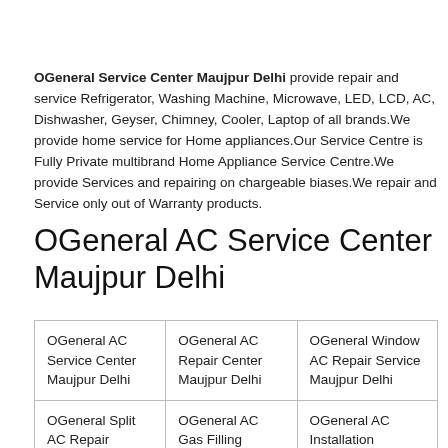OGeneral Service Center Maujpur Delhi provide repair and service Refrigerator, Washing Machine, Microwave, LED, LCD, AC, Dishwasher, Geyser, Chimney, Cooler, Laptop of all brands.We provide home service for Home appliances.Our Service Centre is Fully Private multibrand Home Appliance Service Centre.We provide Services and repairing on chargeable biases.We repair and Service only out of Warranty products.
OGeneral AC Service Center Maujpur Delhi
| OGeneral AC Service Center Maujpur Delhi | OGeneral AC Repair Center Maujpur Delhi | OGeneral Window AC Repair Service Maujpur Delhi |
| OGeneral Split AC Repair Service Maujpur Delhi | OGeneral AC Gas Filling Services Maujpur Delhi | OGeneral AC Installation Services Maujpur |